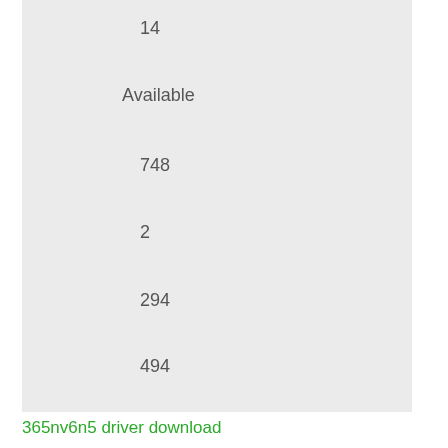14
Available
748
2
294
494
365nv6n5 driver download